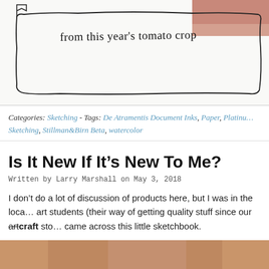[Figure (illustration): Top portion of a hand-drawn sketch on white paper. Handwritten text reads 'from this year's tomato crop' with a simple hand-drawn rectangular border/frame. A partial photo of a person is visible in the top-right corner.]
Categories: Sketching - Tags: De Atramentis Document Inks, Paper, Platinu… Sketching, Stillman&Birn Beta, watercolor
Is It New If It's New To Me?
Written by Larry Marshall on May 3, 2018
I don't do a lot of discussion of products here, but I was in the loca… art students (their way of getting quality stuff since our art craft sto… came across this little sketchbook.
[Figure (photo): Bottom portion of page showing a partial photo with warm brown/skin tones, cropped at the bottom edge.]